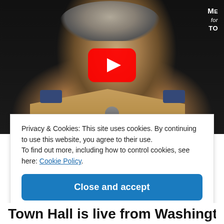[Figure (screenshot): YouTube video thumbnail showing an older man in a tan/khaki uniform with blue shoulder patches, holding a microphone, against a dark background. A red YouTube play button overlay is visible in the center. Small watermark text partially visible in the top-right corner.]
Privacy & Cookies: This site uses cookies. By continuing to use this website, you agree to their use.
To find out more, including how to control cookies, see here: Cookie Policy
Close and accept
Town Hall is live from Washington.